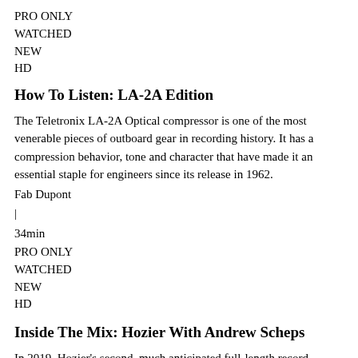PRO ONLY
WATCHED
NEW
HD
How To Listen: LA-2A Edition
The Teletronix LA-2A Optical compressor is one of the most venerable pieces of outboard gear in recording history. It has a compression behavior, tone and character that have made it an essential staple for engineers since its release in 1962.
Fab Dupont
|
34min
PRO ONLY
WATCHED
NEW
HD
Inside The Mix: Hozier With Andrew Scheps
In 2019, Hozier's second, much anticipated full-length record "Wasteland, Baby!" peaked at #1 in the Billboard Top 200, Billboard Top Alternative Albums, Billboard US Folk Albums, and Billboard US Top Rock Albums.